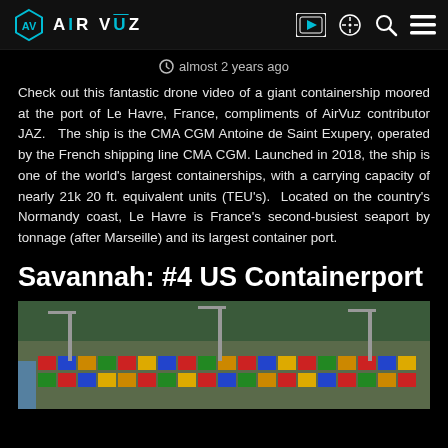AIRVUZ
almost 2 years ago
Check out this fantastic drone video of a giant containership moored at the port of Le Havre, France, compliments of AirVuz contributor JAZ.   The ship is the CMA CGM Antoine de Saint Exupery, operated by the French shipping line CMA CGM.  Launched in 2018, the ship is one of the world's largest containerships, with a carrying capacity of nearly 21k 20 ft. equivalent units (TEU's).   Located on the country's Normandy coast, Le Havre is France's second-busiest seaport by tonnage (after Marseille) and its largest container port.
Savannah: #4 US Containerport
[Figure (photo): Aerial drone photo of a container port showing colorful shipping containers stacked at a dock]